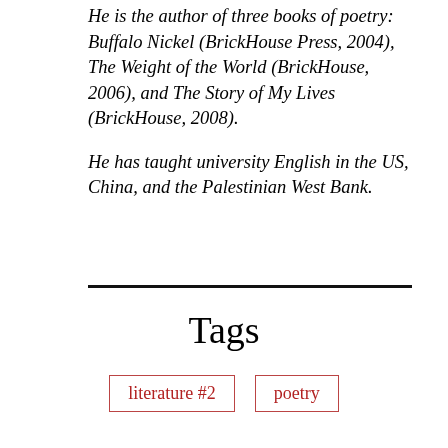He is the author of three books of poetry: Buffalo Nickel (BrickHouse Press, 2004), The Weight of the World (BrickHouse, 2006), and The Story of My Lives (BrickHouse, 2008).

He has taught university English in the US, China, and the Palestinian West Bank.
Tags
literature #2
poetry